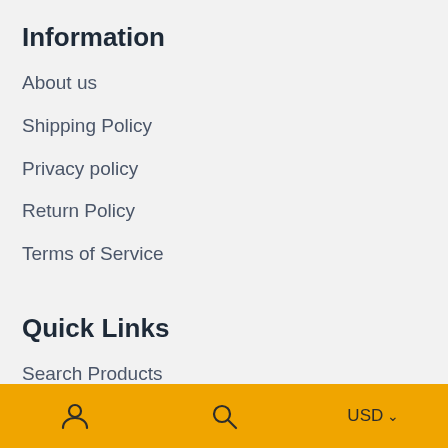Information
About us
Shipping Policy
Privacy policy
Return Policy
Terms of Service
Quick Links
Search Products
Cart
My Account
Reset Password